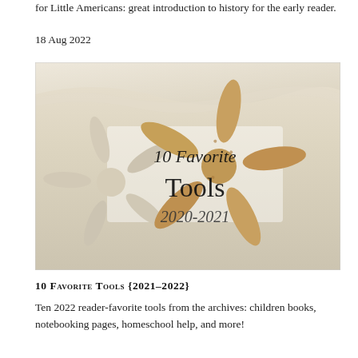for Little Americans: great introduction to history for the early reader.
18 Aug 2022
[Figure (photo): Photo of two starfish on sand background with text overlay reading '10 Favorite Tools 2020-2021']
10 Favorite Tools {2021-2022}
Ten 2022 reader-favorite tools from the archives: children books, notebooking pages, homeschool help, and more!